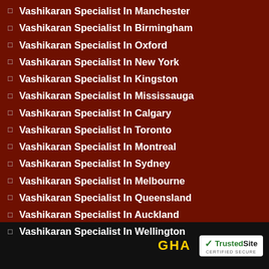Vashikaran Specialist In Manchester
Vashikaran Specialist In Birmingham
Vashikaran Specialist In Oxford
Vashikaran Specialist In New York
Vashikaran Specialist In Kingston
Vashikaran Specialist In Mississauga
Vashikaran Specialist In Calgary
Vashikaran Specialist In Toronto
Vashikaran Specialist In Montreal
Vashikaran Specialist In Sydney
Vashikaran Specialist In Melbourne
Vashikaran Specialist In Queensland
Vashikaran Specialist In Auckland
Vashikaran Specialist In Wellington
GHA TrustedSite CERTIFIED SECURE